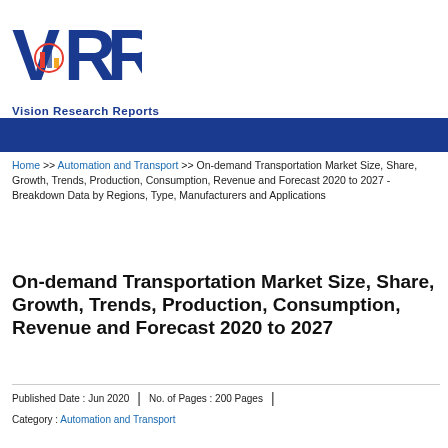[Figure (logo): VRR Vision Research Reports logo with stylized V, R, R letters and bar chart icon]
Home >> Automation and Transport >> On-demand Transportation Market Size, Share, Growth, Trends, Production, Consumption, Revenue and Forecast 2020 to 2027 - Breakdown Data by Regions, Type, Manufacturers and Applications
On-demand Transportation Market Size, Share, Growth, Trends, Production, Consumption, Revenue and Forecast 2020 to 2027
Published Date : Jun 2020 | No. of Pages : 200 Pages |
Category : Automation and Transport